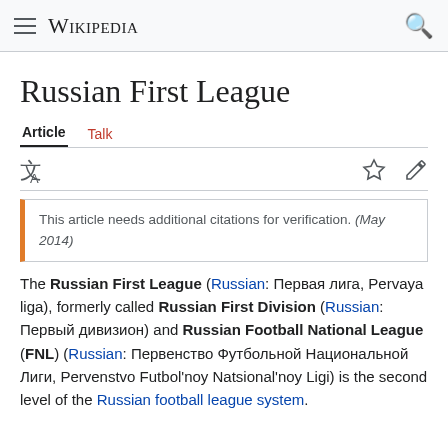Wikipedia
Russian First League
Article  Talk
This article needs additional citations for verification. (May 2014)
The Russian First League (Russian: Первая лига, Pervaya liga), formerly called Russian First Division (Russian: Первый дивизион) and Russian Football National League (FNL) (Russian: Первенство Футбольной Национальной Лиги, Pervenstvo Futbol'noy Natsional'noy Ligi) is the second level of the Russian football league system.